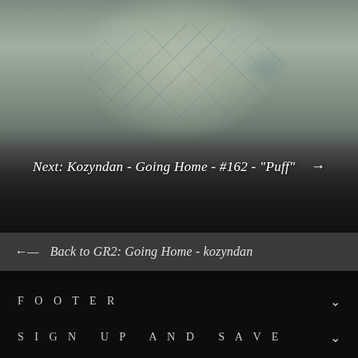[Figure (photo): Top portion of a ceramic pottery or sculpture with crackled glaze, pale green/grey tones with blue vein-like markings, dark background below]
Next: Kozyndan - Going Home - #162 - "Puff" →
← Back to GR2: Going Home - kozyndan
FOOTER
MAIN MENU
SIGN UP AND SAVE